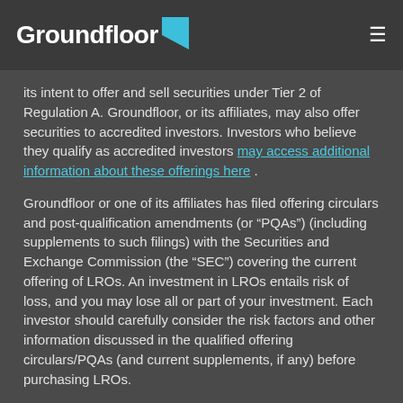Groundfloor
its intent to offer and sell securities under Tier 2 of Regulation A. Groundfloor, or its affiliates, may also offer securities to accredited investors. Investors who believe they qualify as accredited investors may access additional information about these offerings here .
Groundfloor or one of its affiliates has filed offering circulars and post-qualification amendments (or “PQAs”) (including supplements to such filings) with the Securities and Exchange Commission (the “SEC”) covering the current offering of LROs. An investment in LROs entails risk of loss, and you may lose all or part of your investment. Each investor should carefully consider the risk factors and other information discussed in the qualified offering circulars/PQAs (and current supplements, if any) before purchasing LROs.